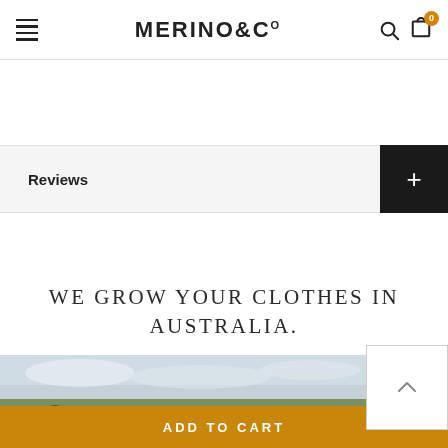MERINO&Co
Reviews
WE GROW YOUR CLOTHES IN AUSTRALIA.
[Figure (photo): Landscape photograph showing Australian countryside with rolling hills, trees, and cloudy sky]
ADD TO CART